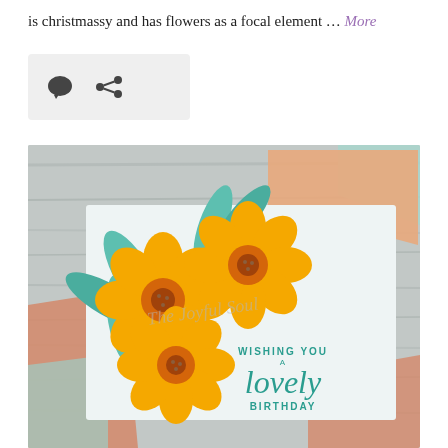is christmassy and has flowers as a focal element … More
[Figure (photo): A greeting card reading 'Wishing You a lovely Birthday' decorated with large orange flowers and teal leaves, placed on a wooden surface with orange and teal envelopes/papers around it.]